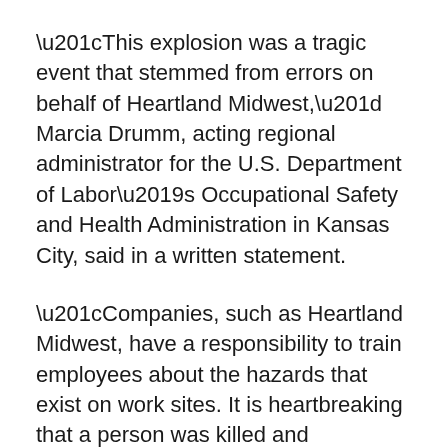“This explosion was a tragic event that stemmed from errors on behalf of Heartland Midwest,” Marcia Drumm, acting regional administrator for the U.S. Department of Labor’s Occupational Safety and Health Administration in Kansas City, said in a written statement.
“Companies, such as Heartland Midwest, have a responsibility to train employees about the hazards that exist on work sites. It is heartbreaking that a person was killed and numerous employees were severely injured as a result of these violations.”
An attorney for Heartland Midwest rebutted